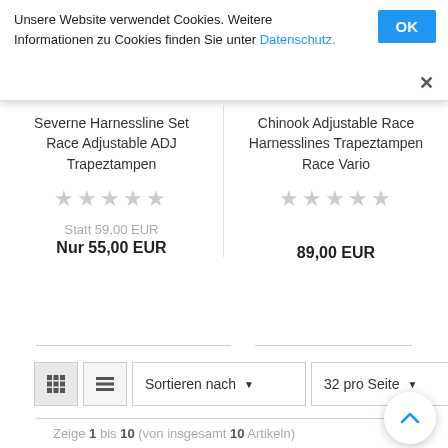Unsere Website verwendet Cookies. Weitere Informationen zu Cookies finden Sie unter Datenschutz.
Severne Harnessline Set Race Adjustable ADJ Trapeztampen
★★★★★
Statt 59,00 EUR
Nur 55,00 EUR
Chinook Adjustable Race Harnesslines Trapeztampen Race Vario
★★★★★
89,00 EUR
Sortieren nach ▾
32 pro Seite ▾
Zeige 1 bis 10 (von insgesamt 10 Artikeln)